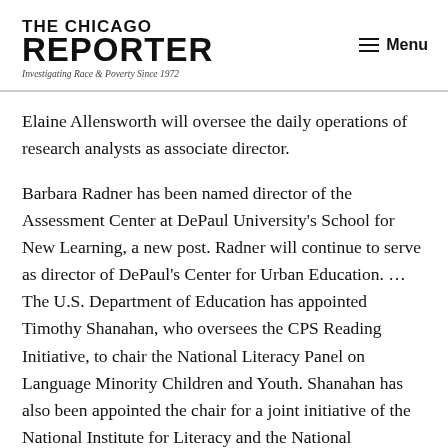THE CHICAGO REPORTER — Investigating Race & Poverty Since 1972
Elaine Allensworth will oversee the daily operations of research analysts as associate director.
Barbara Radner has been named director of the Assessment Center at DePaul University's School for New Learning, a new post. Radner will continue to serve as director of DePaul's Center for Urban Education. … The U.S. Department of Education has appointed Timothy Shanahan, who oversees the CPS Reading Initiative, to chair the National Literacy Panel on Language Minority Children and Youth. Shanahan has also been appointed the chair for a joint initiative of the National Institute for Literacy and the National…